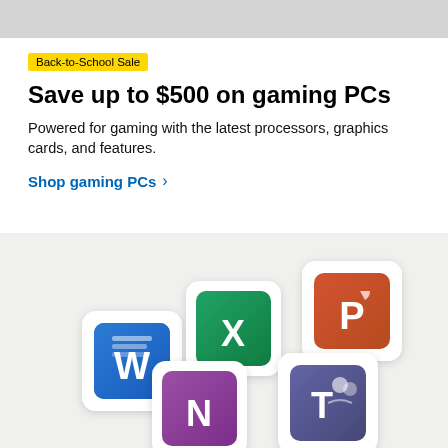[Figure (illustration): Gray banner bar at the top of the page]
Back-to-School Sale
Save up to $500 on gaming PCs
Powered for gaming with the latest processors, graphics cards, and features.
Shop gaming PCs >
[Figure (illustration): Microsoft Office app icons (Word, Excel, PowerPoint, OneNote, Teams) floating on a light gray background with rounded square tiles]